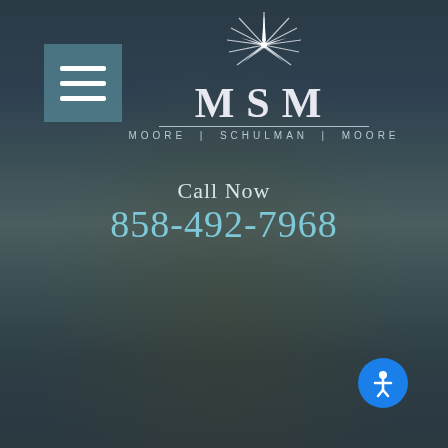[Figure (screenshot): Law firm website screenshot with dark teal ocean background, hamburger menu, MSM logo with star, contact info, and firm tagline]
MSM — MOORE | SCHULMAN | MOORE
Call Now
858-492-7968
Asset & Debt Division
San Diego's Family Law Experts ®